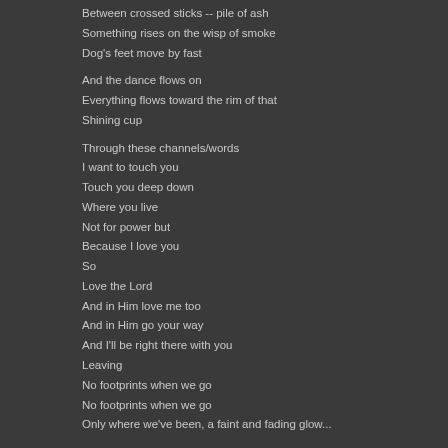Between crossed sticks -- pile of ash
Something rises on the wisp of smoke
Dog's feet move by fast
And the dance flows on
Everything flows toward the rim of that
Shining cup
Through these channels/words
I want to touch you
Touch you deep down
Where you live
Not for power but
Because I love you
So
Love the Lord
And in Him love me too
And in Him go your way
And I'll be right there with you
Leaving
No footprints when we go
No footprints when we go
Only where we've been, a faint and fading glow...
Songwriters: Bruce Cockburn
No Footprints lyrics © Rotten Kiddies Music Llc, Bro N Sis Music Inc.,